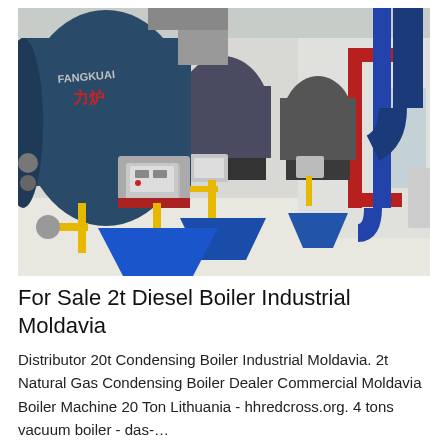[Figure (photo): Interior of an industrial boiler room showing multiple large blue cylindrical boilers (branded FANGKUAI with Chinese characters) lined up in a row along a white corridor. Yellow gas pipes connect to burner units at the front of each boiler. Blue conical bases support each unit. Red and blue large pipes run along the right wall. The room has bright lighting and a reflective floor.]
For Sale 2t Diesel Boiler Industrial Moldavia
Distributor 20t Condensing Boiler Industrial Moldavia. 2t Natural Gas Condensing Boiler Dealer Commercial Moldavia Boiler Machine 20 Ton Lithuania - hhredcross.org. 4 tons vacuum boiler - das-…